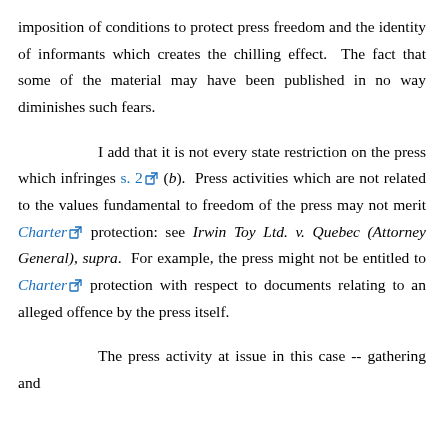imposition of conditions to protect press freedom and the identity of informants which creates the chilling effect.  The fact that some of the material may have been published in no way diminishes such fears.
I add that it is not every state restriction on the press which infringes s. 2 [external link] (b).  Press activities which are not related to the values fundamental to freedom of the press may not merit Charter [external link] protection: see Irwin Toy Ltd. v. Quebec (Attorney General), supra.  For example, the press might not be entitled to Charter [external link] protection with respect to documents relating to an alleged offence by the press itself.
The press activity at issue in this case -- gathering and